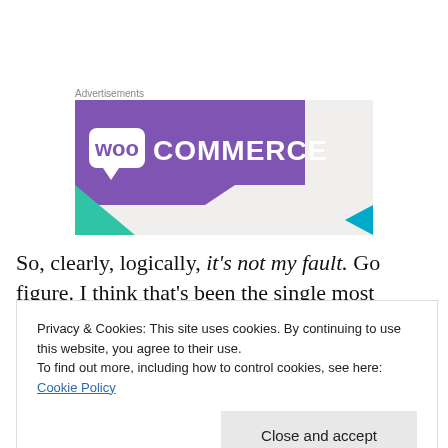Advertisements
[Figure (logo): WooCommerce advertisement banner with purple background, teal triangle, and white WooCommerce logo text]
So, clearly, logically, it's not my fault. Go figure. I think that's been the single most impactful intervention my
Privacy & Cookies: This site uses cookies. By continuing to use this website, you agree to their use.
To find out more, including how to control cookies, see here: Cookie Policy
Close and accept
At the same time, the part of me that knows this isn't my